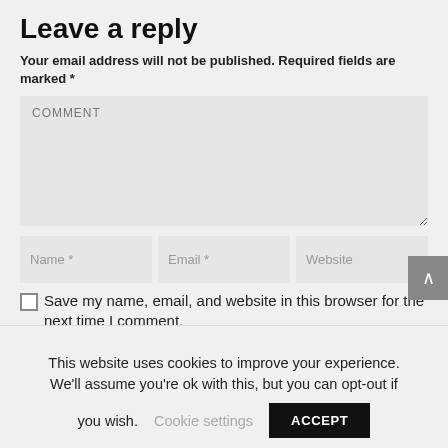Leave a reply
Your email address will not be published. Required fields are marked *
[Figure (screenshot): Comment textarea input field with placeholder text 'COMMENT']
[Figure (screenshot): Three input fields side by side: Name *, Email *, Website]
Save my name, email, and website in this browser for the next time I comment.
This website uses cookies to improve your experience. We'll assume you're ok with this, but you can opt-out if you wish.
Cookie settings
ACCEPT